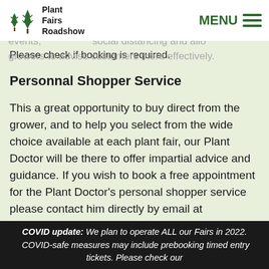Plant Fairs Roadshow — MENU navigation bar
improved visitor experience. Recently we have introduced timed entry ticketing for many of our events, social distancing and allo growers to advise customers more effectively. Please check if booking is required.
Personnal Shopper Service
This a great opportunity to buy direct from the grower, and to help you select from the wide choice available at each plant fair, our Plant Doctor will be there to offer impartial advice and guidance. If you wish to book a free appointment for the Plant Doctor's personal shopper service please contact him directly by email at info@plant-
COVID update: We plan to operate ALL our Fairs in 2022. COVID-safe measures may include prebooking timed entry tickets. Please check our